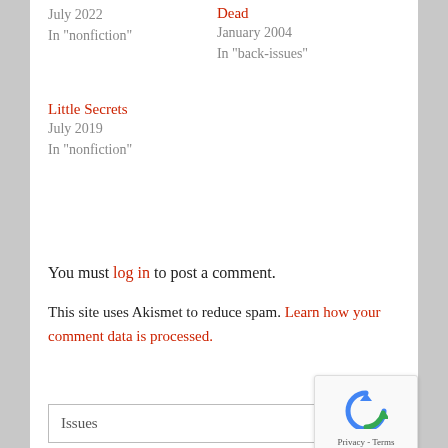July 2022
In "nonfiction"
Dead
January 2004
In "back-issues"
Little Secrets
July 2019
In "nonfiction"
You must log in to post a comment.
This site uses Akismet to reduce spam. Learn how your comment data is processed.
Issues